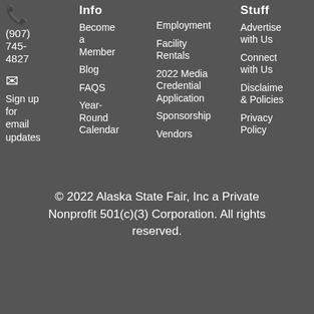(907) 745-4827
Sign up for email updates
Info
Become a Member
Blog
FAQS
Year-Round Calendar
Employment
Facility Rentals
2022 Media Credential Application
Sponsorship
Vendors
Stuff
Advertise with Us
Connect with Us
Disclaimer & Policies
Privacy Policy
© 2022 Alaska State Fair, Inc a Private Nonprofit 501(c)(3) Corporation. All rights reserved.